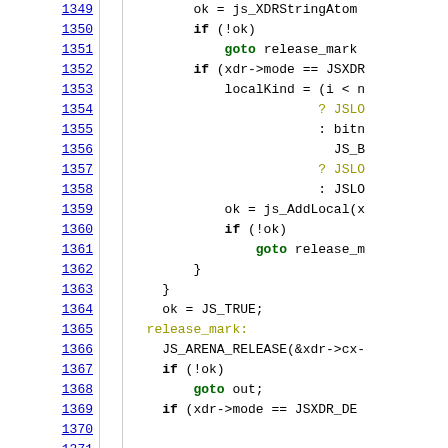[Figure (screenshot): Source code listing with line numbers 1349-1371, showing C/C++ code with syntax highlighting. Keywords in bold black, goto keywords in green bold, labels in olive/yellow, function calls in black. Line numbers shown as blue underlined links on left side.]